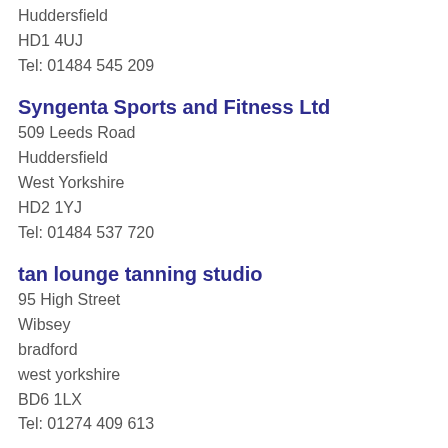Huddersfield
HD1 4UJ
Tel: 01484 545 209
Syngenta Sports and Fitness Ltd
509 Leeds Road
Huddersfield
West Yorkshire
HD2 1YJ
Tel: 01484 537 720
tan lounge tanning studio
95 High Street
Wibsey
bradford
west yorkshire
BD6 1LX
Tel: 01274 409 613
Taylor Hughes Hairdressing Ltd